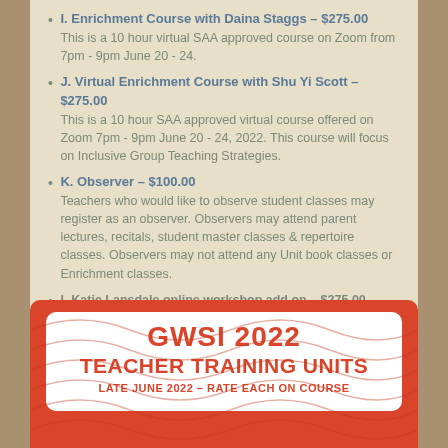I. Enrichment Course with Daina Staggs – $275.00
This is a 10 hour virtual SAA approved course on Zoom from 7pm - 9pm June 20 - 24.
J. Virtual Enrichment Course with Shu Yi Scott – $275.00
This is a 10 hour SAA approved virtual course offered on Zoom 7pm - 9pm June 20 - 24, 2022. This course will focus on Inclusive Group Teaching Strategies.
K. Observer – $100.00
Teachers who would like to observe student classes may register as an observer. Observers may attend parent lectures, recitals, student master classes & repertoire classes. Observers may not attend any Unit book classes or Enrichment classes.
L Katie Lansdale online workshop add on – $275.00
Registration is closed
GWSI 2022 TEACHER TRAINING UNITS
LATE JUNE 2022 – RATE EACH ON COURSE